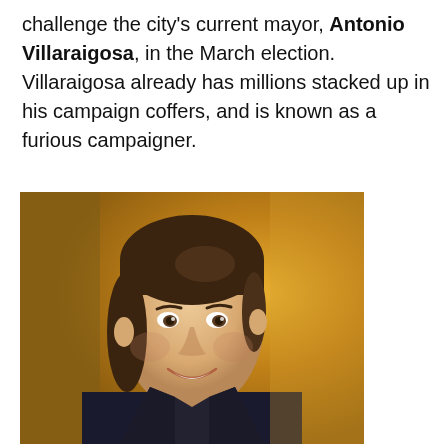challenge the city's current mayor, Antonio Villaraigosa, in the March election. Villaraigosa already has millions stacked up in his campaign coffers, and is known as a furious campaigner.
[Figure (photo): Portrait photograph of a middle-aged man with dark hair, smiling, wearing a dark suit jacket with a striped shirt, photographed against a warm golden/orange background.]